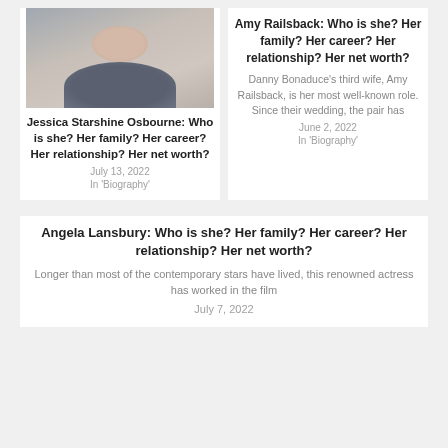[Figure (photo): Headshot photo of a smiling woman with brown hair wearing a blue-grey cardigan]
Jessica Starshine Osbourne: Who is she? Her family? Her career? Her relationship? Her net worth?
July 13, 2022
In 'Biography'
Amy Railsback: Who is she? Her family? Her career? Her relationship? Her net worth?
Danny Bonaduce's third wife, Amy Railsback, is her most well-known role. Since their wedding, the pair has
June 2, 2022
In 'Biography'
Angela Lansbury: Who is she? Her family? Her career? Her relationship? Her net worth?
Longer than most of the contemporary stars have lived, this renowned actress has worked in the film
July 7, 2022